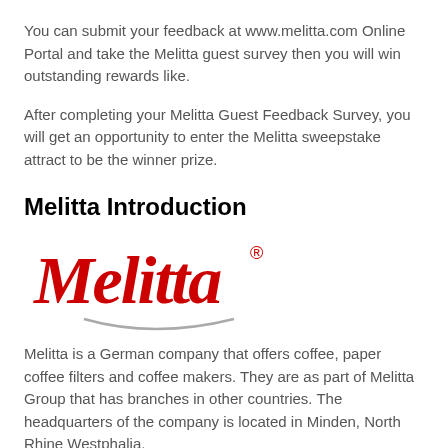You can submit your feedback at www.melitta.com Online Portal and take the Melitta guest survey then you will win outstanding rewards like.
After completing your Melitta Guest Feedback Survey, you will get an opportunity to enter the Melitta sweepstake attract to be the winner prize.
Melitta Introduction
[Figure (logo): Melitta cursive red logo with registered trademark symbol and a grey arc beneath]
Melitta is a German company that offers coffee, paper coffee filters and coffee makers. They are as part of Melitta Group that has branches in other countries. The headquarters of the company is located in Minden, North Rhine Westphalia.